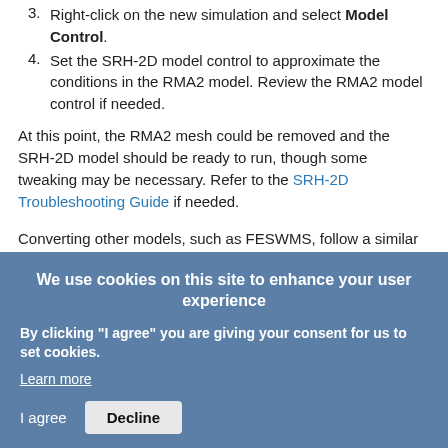3. Right-click on the new simulation and select Model Control.
4. Set the SRH-2D model control to approximate the conditions in the RMA2 model. Review the RMA2 model control if needed.
At this point, the RMA2 mesh could be removed and the SRH-2D model should be ready to run, though some tweaking may be necessary. Refer to the SRH-2D Troubleshooting Guide if needed.
Converting other models, such as FESWMS, follow a similar process to that described above. Try out this conversion process with your older projects today in SMS.
We use cookies on this site to enhance your user experience
By clicking "I agree" you are giving your consent for us to set cookies.
Learn more
I agree   Decline